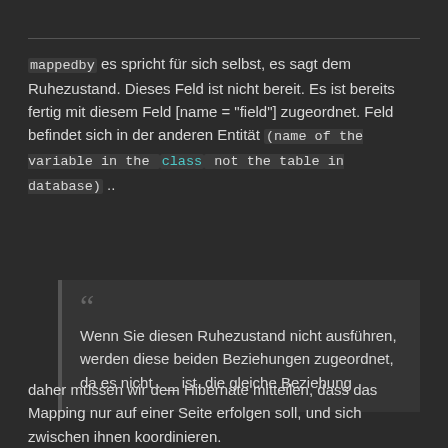mappedby es spricht für sich selbst, es sagt dem Ruhezustand. Dieses Feld ist nicht bereit. Es ist bereits fertig mit diesem Feld [name = "field"] zugeordnet. Feld befindet sich in der anderen Entität (name of the variable in the class not the table in database) ..
Wenn Sie diesen Ruhezustand nicht ausführen, werden diese beiden Beziehungen zugeordnet, da es nicht .__ ist. die gleiche Beziehung
daher müssen wir dem Hibernate mitteilen, dass das Mapping nur auf einer Seite erfolgen soll, und sich zwischen ihnen koordinieren.